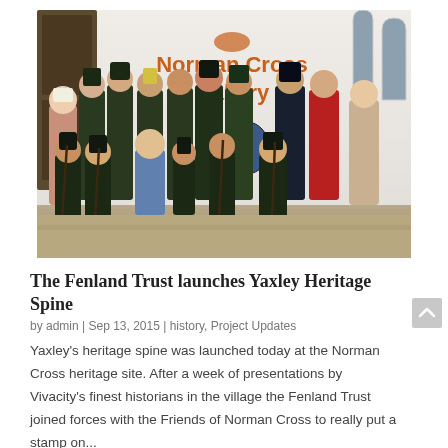[Figure (photo): Group photo of people dressed in Napoleonic-era military costumes and period clothing standing and kneeling in front of the Norman Cross Gallery building.]
The Fenland Trust launches Yaxley Heritage Spine
by admin | Sep 13, 2015 | history, Project Updates
Yaxley's heritage spine was launched today at the Norman Cross heritage site. After a week of presentations by Vivacity's finest historians in the village the Fenland Trust joined forces with the Friends of Norman Cross to really put a stamp on...